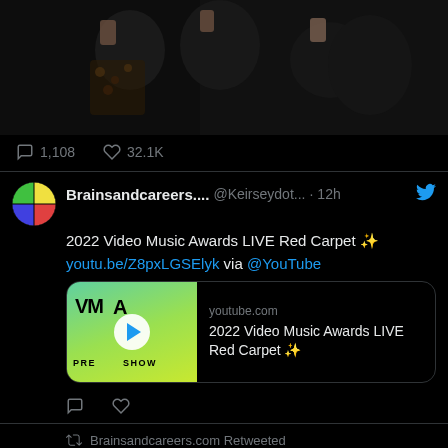[Figure (photo): A dark photo showing people making hand gestures, wearing patterned/leopard print clothing]
1,108  32.1K
Brainsandcareers.... @Keirseydot... · 12h
2022 Video Music Awards LIVE Red Carpet ✨ youtu.be/Z8pxLGSElyk via @YouTube
[Figure (screenshot): YouTube link card showing VMA Pre-Show thumbnail with play button. youtube.com - 2022 Video Music Awards LIVE Red Carpet ✨]
Brainsandcareers.com Retweeted
Emily Carey @TheEmilyCarey · 21h
next instalment of @HouseofDragon drops